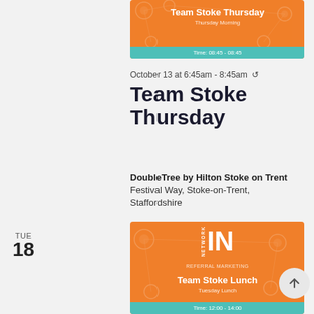[Figure (infographic): Team Stoke Thursday event card with orange background, title 'Team Stoke Thursday', subtitle 'Thursday Morning', teal time bar 'Time: 08:45 - 08:45']
October 13 at 6:45am - 8:45am ↻
Team Stoke Thursday
DoubleTree by Hilton Stoke on Trent
Festival Way, Stoke-on-Trent, Staffordshire
[Figure (infographic): Team Stoke Lunch event card with orange background, Network IN logo, title 'Team Stoke Lunch', subtitle 'Tuesday Lunch', teal time bar 'Time: 12:00 - 14:00']
October 18 at 12:00pm - 2:00pm ↻
Team Stoke